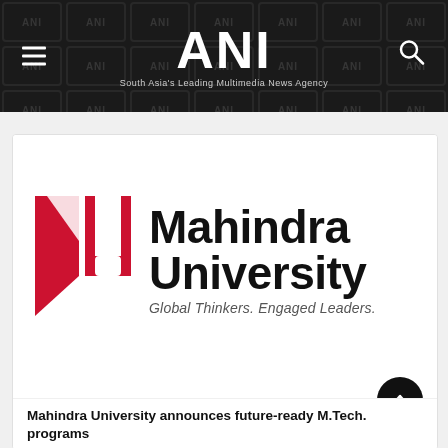ANI — South Asia's Leading Multimedia News Agency
[Figure (logo): Mahindra University logo: red and black shield emblem on the left, bold text 'Mahindra University' on the right, with tagline 'Global Thinkers. Engaged Leaders.' beneath]
Mahindra University announces future-ready M.Tech. programs